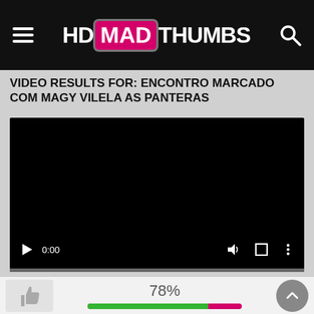HD MAD THUMBS
VIDEO RESULTS FOR: ENCONTRO MARCADO COM MAGY VILELA AS PANTERAS
[Figure (screenshot): Embedded black video player with controls showing play button, 0:00 timestamp, volume, fullscreen, and options icons. A grey progress bar is at the bottom.]
78%
[Figure (infographic): Thumbs up icon in a grey box on the left, a percentage rating 78% in the center, a two-tone horizontal bar (green fill 78%, pink remainder), and a scroll-to-top circular grey button on the right.]